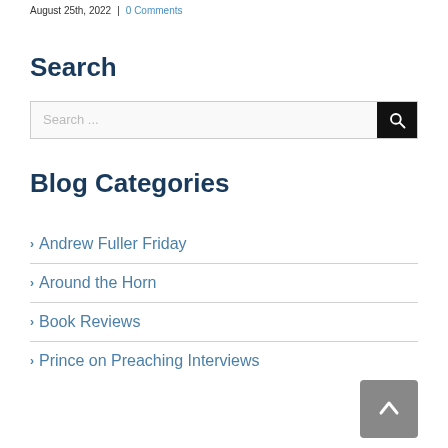August 25th, 2022 | 0 Comments
Search
Search ...
Blog Categories
Andrew Fuller Friday
Around the Horn
Book Reviews
Prince on Preaching Interviews